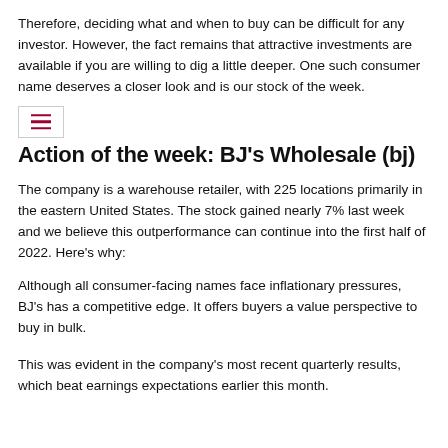Therefore, deciding what and when to buy can be difficult for any investor. However, the fact remains that attractive investments are available if you are willing to dig a little deeper. One such consumer name deserves a closer look and is our stock of the week.
Action of the week: BJ's Wholesale (bj)
The company is a warehouse retailer, with 225 locations primarily in the eastern United States. The stock gained nearly 7% last week and we believe this outperformance can continue into the first half of 2022. Here's why:
Although all consumer-facing names face inflationary pressures, BJ's has a competitive edge. It offers buyers a value perspective to buy in bulk.
This was evident in the company's most recent quarterly results, which beat earnings expectations earlier this month.